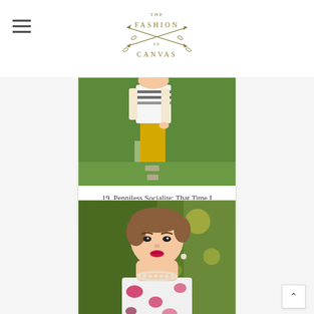The Fashion is Canvas (logo)
[Figure (photo): Person wearing yellow pants and a striped top, standing outdoors on grass]
19. Penniless Socialite: That Time I Accidentally Dres
[Figure (photo): Woman with short hair, wearing a floral sleeveless top and pearl necklace, smiling outdoors]
20. A Pocketful of Polka Dots : I Feel Pretty